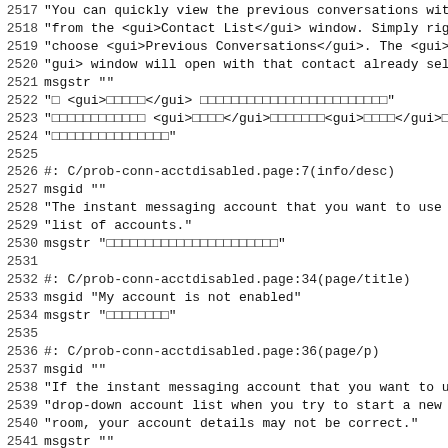Code/localization file content, lines 2517-2549
2517 "You can quickly view the previous conversations with
2518 "from the <gui>Contact List</gui> window. Simply right
2519 "choose <gui>Previous Conversations</gui>. The <gui>Pre
2520 "gui> window will open with that contact already select
2521 msgstr ""
2522 "□ <gui>□□□□□</gui> □□□□□□□□□□□□□□□□□□□□□□□□"
2523 "□□□□□□□□□□□□ <gui>□□□□</gui>□□□□□□□<gui>□□□□</gui>□"
2524 "□□□□□□□□□□□□□□□"
2525
2526 #: C/prob-conn-acctdisabled.page:7(info/desc)
2527 msgid ""
2528 "The instant messaging account that you want to use is
2529 "list of accounts."
2530 msgstr "□□□□□□□□□□□□□□□□□□□□□□"
2531
2532 #: C/prob-conn-acctdisabled.page:34(page/title)
2533 msgid "My account is not enabled"
2534 msgstr "□□□□□□□□"
2535
2536 #: C/prob-conn-acctdisabled.page:36(page/p)
2537 msgid ""
2538 "If the instant messaging account that you want to use
2539 "drop-down account list when you try to start a new con
2540 "room, your account details may not be correct."
2541 msgstr ""
2542 "□□□□□□□□□□□□□□□□□□□□□□□□□□□□□□□□□□□□□"
2543 "□□□□□□□□□□□□□□□□□□"
2544
2545 #: C/prob-conn-acctdisabled.page:44(item/p) C/prob-conn
2546 #: C/prob-conn-neterror.page:53(item/p)
2547 msgid ""
2548 "Make sure that you are connected to the Internet, or t
2549 "□□□□□□□□□□□□□□□□□□□□"